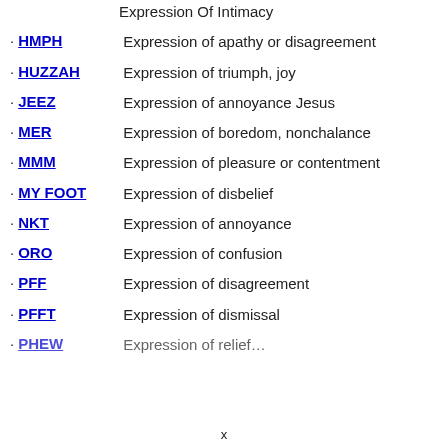HMPH – Expression of apathy or disagreement
HUZZAH – Expression of triumph, joy
JEEZ – Expression of annoyance Jesus
MER – Expression of boredom, nonchalance
MMM – Expression of pleasure or contentment
MY FOOT – Expression of disbelief
NKT – Expression of annoyance
ORO – Expression of confusion
PFF – Expression of disagreement
PFFT – Expression of dismissal
PHEW – Expression of relief…
x